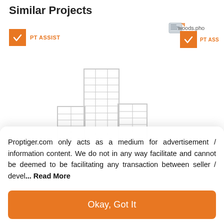Similar Projects
[Figure (logo): Orange checkbox badge with PT ASSIST label on the left side]
[Figure (logo): Orange checkbox badge with PT ASS label (partially visible) on the right side, with a file/image stub above]
[Figure (illustration): Grey line illustration of city buildings with trees, placeholder image for a property project]
Proptiger.com only acts as a medium for advertisement / information content. We do not in any way facilitate and cannot be deemed to be facilitating any transaction between seller / devel... Read More
Okay, Got It